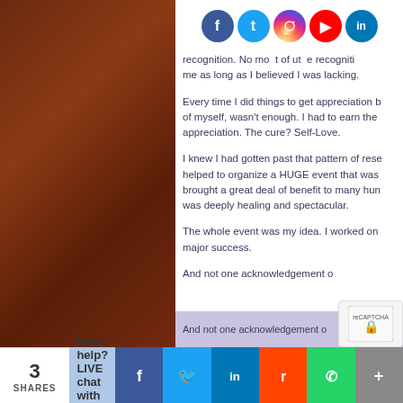[Figure (other): Brown textured sidebar background]
recognition. No mo t of uts e recogniti me as long as I believed I was lacking.
Every time I did things to get appreciation b of myself, wasn't enough. I had to earn the appreciation. The cure? Self-Love.
I knew I had gotten past that pattern of rese helped to organize a HUGE event that was brought a great deal of benefit to many hun was deeply healing and spectacular.
The whole event was my idea. I worked on major success.
And not one acknowledgement o
[Figure (infographic): Social media sharing bar at bottom with Facebook, Twitter, LinkedIn, Reddit, WhatsApp icons and shares count 3]
Need help? LIVE chat with us!